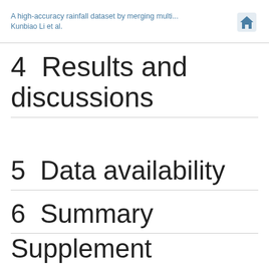A high-accuracy rainfall dataset by merging multi...
Kunbiao Li et al.
4  Results and discussions
5  Data availability
6  Summary
Supplement